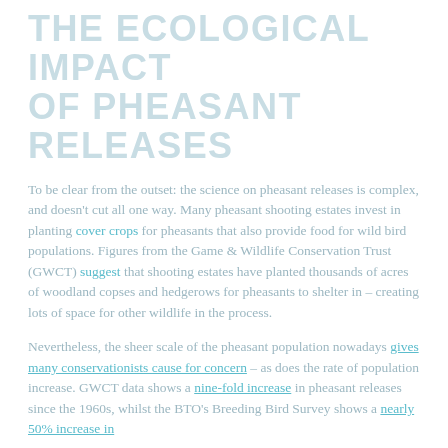THE ECOLOGICAL IMPACT OF PHEASANT RELEASES
To be clear from the outset: the science on pheasant releases is complex, and doesn't cut all one way. Many pheasant shooting estates invest in planting cover crops for pheasants that also provide food for wild bird populations. Figures from the Game & Wildlife Conservation Trust (GWCT) suggest that shooting estates have planted thousands of acres of woodland copses and hedgerows for pheasants to shelter in – creating lots of space for other wildlife in the process.
Nevertheless, the sheer scale of the pheasant population nowadays gives many conservationists cause for concern – as does the rate of population increase. GWCT data shows a nine-fold increase in pheasant releases since the 1960s, whilst the BTO's Breeding Bird Survey shows a nearly 50% increase in